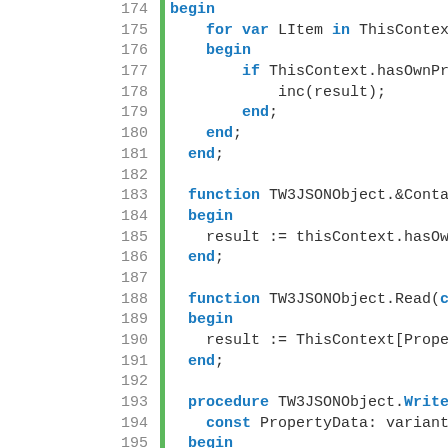[Figure (screenshot): Source code listing in Pascal-like language showing lines 174-198+, with line numbers on the left separated by a green vertical bar, keywords highlighted in bold blue, and code content in monospace font on white background.]